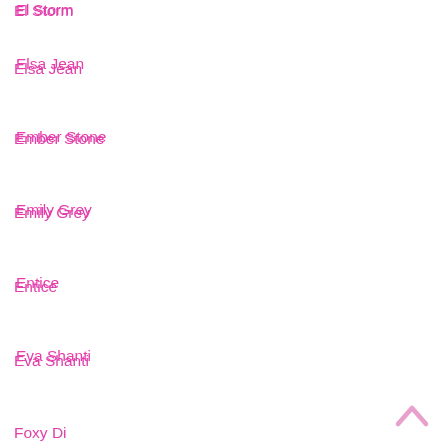El Storm
Elsa Jean
Ember Stone
Emily Grey
Entice
Eva Shanti
Foxy Di
Hope Harper
Inga
Janice Griffith
Jessica Sawn
Jessica Swan
Jessie Volt
Jillian Janson
Joseline Kelly